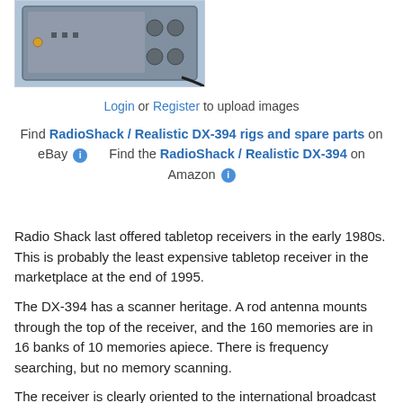[Figure (photo): Back panel of a RadioShack / Realistic DX-394 receiver showing ports and controls]
Login or Register to upload images
Find RadioShack / Realistic DX-394 rigs and spare parts on eBay  Find the RadioShack / Realistic DX-394 on Amazon
Radio Shack last offered tabletop receivers in the early 1980s. This is probably the least expensive tabletop receiver in the marketplace at the end of 1995.
The DX-394 has a scanner heritage. A rod antenna mounts through the top of the receiver, and the 160 memories are in 16 banks of 10 memories apiece. There is frequency searching, but no memory scanning.
The receiver is clearly oriented to the international broadcast...